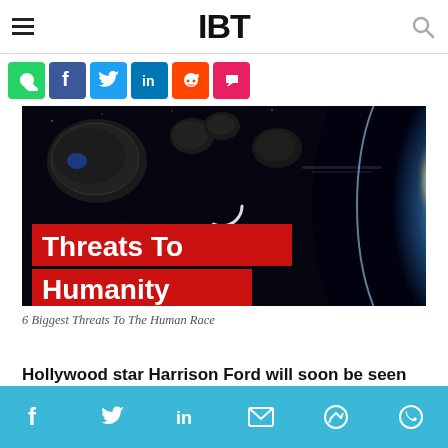IBT
[Figure (screenshot): Social share buttons row: WhatsApp (green), Facebook (blue), Twitter (light blue), LinkedIn (dark blue), Reddit (orange), Comment/chat (pink-red)]
[Figure (photo): Dark space scene with asteroids near Earth, text overlay on red background reading 'Threats To Humanity']
6 Biggest Threats To The Human Race
Hollywood star Harrison Ford will soon be seen
[Figure (screenshot): Bottom social share bar with icons: Facebook, Twitter, LinkedIn, Email, Messenger, WhatsApp on light blue background]